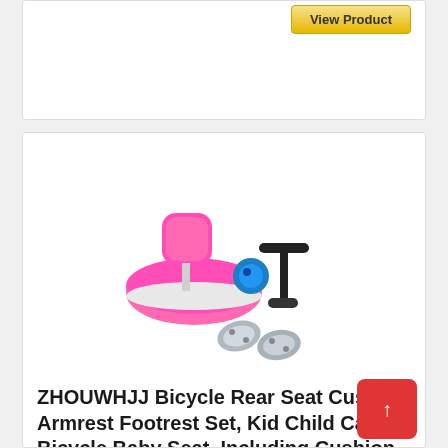[Figure (screenshot): View Product button on a white product card background]
[Figure (photo): Pink bicycle rear seat cushion with armrest, footrests (silver), handlebar attachment (black), and a blue bell — product set laid out on white background]
ZHOUWHJJ Bicycle Rear Seat Cushion Armrest Footrest Set, Kid Child Carrier Bicycle Baby Seat, Including Cushion and Backrest,